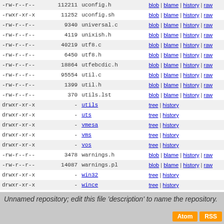| permissions | size | name | links |
| --- | --- | --- | --- |
| -rw-r--r-- | 112211 | uconfig.h | blob | blame | history | raw |
| -rwxr-xr-x | 11252 | uconfig.sh | blob | blame | history | raw |
| -rw-r--r-- | 9340 | universal.c | blob | blame | history | raw |
| -rw-r--r-- | 4119 | unixish.h | blob | blame | history | raw |
| -rw-r--r-- | 40219 | utf8.c | blob | blame | history | raw |
| -rw-r--r-- | 6450 | utf8.h | blob | blame | history | raw |
| -rw-r--r-- | 18864 | utfebcdic.h | blob | blame | history | raw |
| -rw-r--r-- | 95554 | util.c | blob | blame | history | raw |
| -rw-r--r-- | 1399 | util.h | blob | blame | history | raw |
| -rw-r--r-- | 370 | utils.lst | blob | blame | history | raw |
| drwxr-xr-x | - | utils | tree | history |
| drwxr-xr-x | - | uts | tree | history |
| drwxr-xr-x | - | vmesa | tree | history |
| drwxr-xr-x | - | vms | tree | history |
| drwxr-xr-x | - | vos | tree | history |
| -rw-r--r-- | 3478 | warnings.h | blob | blame | history | raw |
| -rw-r--r-- | 14087 | warnings.pl | blob | blame | history | raw |
| drwxr-xr-x | - | win32 | tree | history |
| drwxr-xr-x | - | wince | tree | history |
| -rw-r--r-- | 2834 | writemain.SH | blob | blame | history | raw |
| drwxr-xr-x | - | x2p | tree | history |
| -rw-r--r-- | 6564 | xsutils.c | blob | blame | history | raw |
Unnamed repository; edit this file 'description' to name the repository.